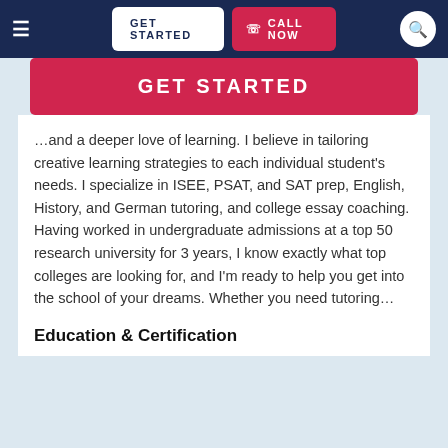≡  GET STARTED  📞 CALL NOW  🔍
GET STARTED
…and a deeper love of learning. I believe in tailoring creative learning strategies to each individual student's needs. I specialize in ISEE, PSAT, and SAT prep, English, History, and German tutoring, and college essay coaching. Having worked in undergraduate admissions at a top 50 research university for 3 years, I know exactly what top colleges are looking for, and I'm ready to help you get into the school of your dreams. Whether you need tutoring…
Education & Certification